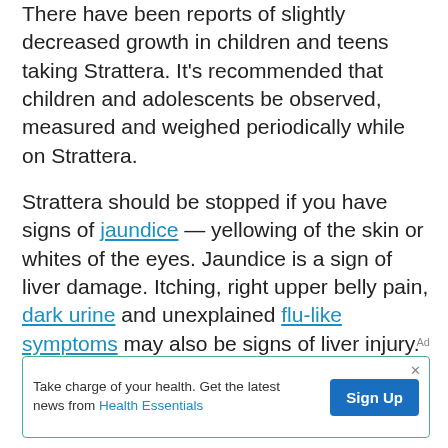There have been reports of slightly decreased growth in children and teens taking Strattera. It's recommended that children and adolescents be observed, measured and weighed periodically while on Strattera.
Strattera should be stopped if you have signs of jaundice — yellowing of the skin or whites of the eyes. Jaundice is a sign of liver damage. Itching, right upper belly pain, dark urine and unexplained flu-like symptoms may also be signs of liver injury. If blood tests show evidence of liver damage, stop taking Strattera.
Ad
Take charge of your health. Get the latest news from Health Essentials